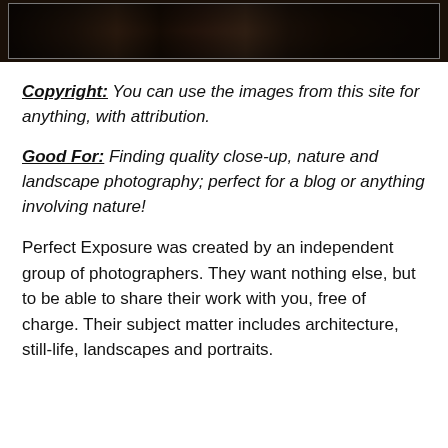[Figure (photo): Dark close-up nature/animal photograph strip at top of page]
Copyright: You can use the images from this site for anything, with attribution.
Good For: Finding quality close-up, nature and landscape photography; perfect for a blog or anything involving nature!
Perfect Exposure was created by an independent group of photographers. They want nothing else, but to be able to share their work with you, free of charge. Their subject matter includes architecture, still-life, landscapes and portraits.